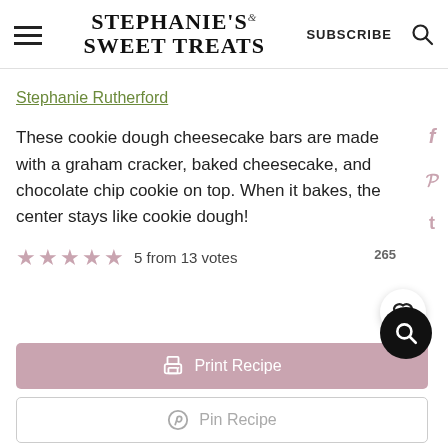STEPHANIE'S SWEET TREATS — SUBSCRIBE — Search
Stephanie Rutherford
These cookie dough cheesecake bars are made with a graham cracker, baked cheesecake, and chocolate chip cookie on top. When it bakes, the center stays like cookie dough!
5 from 13 votes
265
Print Recipe
Pin Recipe